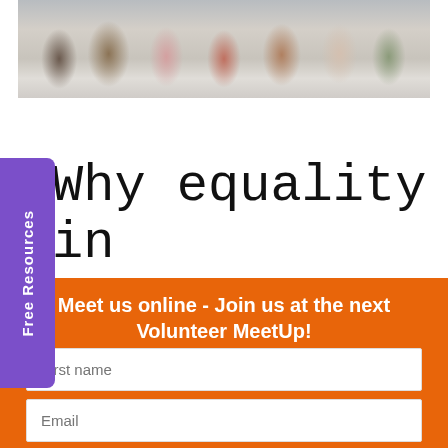[Figure (photo): Overhead view of a group of young people/students looking up at the camera, sitting on steps]
Free Resources
Why equality in
Meet us online - Join us at the next Volunteer MeetUp!
First name
Email
Sign Up!